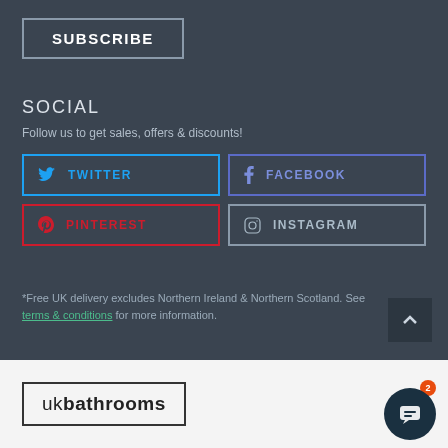SUBSCRIBE
SOCIAL
Follow us to get sales, offers & discounts!
TWITTER
FACEBOOK
PINTEREST
INSTAGRAM
*Free UK delivery excludes Northern Ireland & Northern Scotland. See terms & conditions for more information.
[Figure (logo): ukbathrooms logo in bordered box]